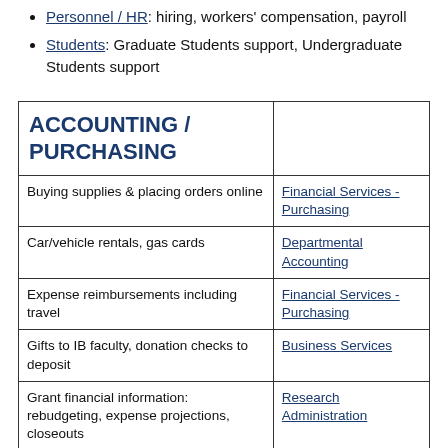Personnel / HR: hiring, workers' compensation, payroll
Students: Graduate Students support, Undergraduate Students support
|  |  |
| --- | --- |
| ACCOUNTING / PURCHASING |  |
| Buying supplies & placing orders online | Financial Services - Purchasing |
| Car/vehicle rentals, gas cards | Departmental Accounting |
| Expense reimbursements including travel | Financial Services - Purchasing |
| Gifts to IB faculty, donation checks to deposit | Business Services |
| Grant financial information: rebudgeting, expense projections, closeouts | Research Administration |
| ... | Research |